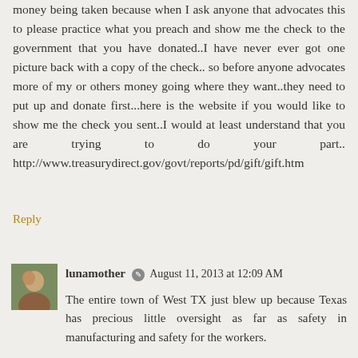money being taken because when I ask anyone that advocates this to please practice what you preach and show me the check to the government that you have donated..I have never ever got one picture back with a copy of the check.. so before anyone advocates more of my or others money going where they want..they need to put up and donate first...here is the website if you would like to show me the check you sent..I would at least understand that you are trying to do your part.. http://www.treasurydirect.gov/govt/reports/pd/gift/gift.htm
Reply
lunamother  August 11, 2013 at 12:09 AM
The entire town of West TX just blew up because Texas has precious little oversight as far as safety in manufacturing and safety for the workers.
They hadn't been inspected for years and the last time they were they were fined less than $100 for their violations and never checked again.